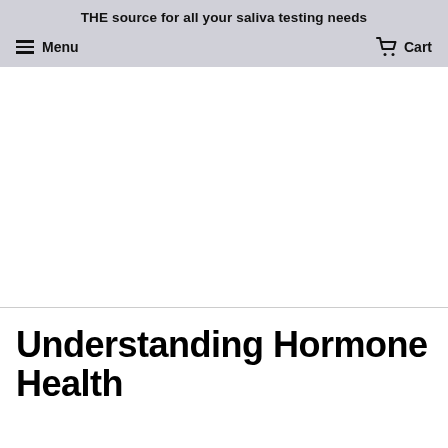THE source for all your saliva testing needs
Menu   Cart
[Figure (photo): Large hero image area — appears blank/white in this view, likely an image that did not load or is cropped out]
Understanding Hormone Health